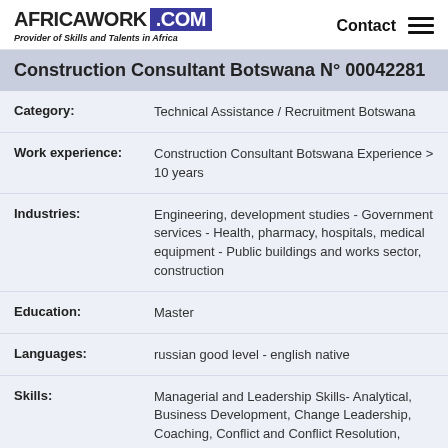AFRICAWORK .COM — Provider of Skills and Talents in Africa — Contact
Construction Consultant Botswana N° 00042281
Category: Technical Assistance / Recruitment Botswana
Work experience: Construction Consultant Botswana Experience > 10 years
Industries: Engineering, development studies - Government services - Health, pharmacy, hospitals, medical equipment - Public buildings and works sector, construction
Education: Master
Languages: russian good level - english native
Skills: Managerial and Leadership Skills- Analytical, Business Development, Change Leadership, Coaching, Conflict and Conflict Resolution, Decision Making,